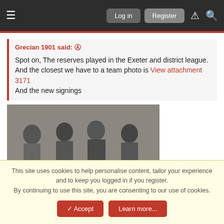Log in  Register
Grecian 1901 said: ↑
Spot on, The reserves played in the Exeter and district league. And the closest we have to a team photo is View attachment 3171
And the new signings
[Figure (photo): Black and white historical team photo of football players, with caption text below]
Jul 29, 2020  #9
Oldsmobile-88
This site uses cookies to help personalise content, tailor your experience and to keep you logged in if you register.
By continuing to use this site, you are consenting to our use of cookies.
✓ Accept  Learn more...